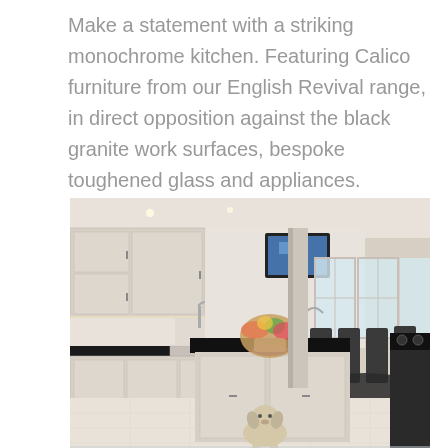Make a statement with a striking monochrome kitchen. Featuring Calico furniture from our English Revival range, in direct opposition against the black granite work surfaces, bespoke toughened glass and appliances.
[Figure (photo): Interior photograph of a monochrome kitchen featuring cream/white Calico furniture cabinets, black granite worktops, a central island with flowers and fruit arrangement, a wall-mounted TV, dining area with dark chairs visible in the background, large windows letting in natural light, and a dog standing near the island.]